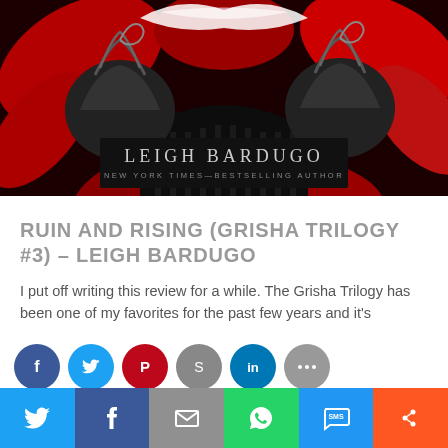[Figure (illustration): Book cover for Ruin and Rising (Grisha Trilogy #3) by Leigh Bardugo. Dark dramatic artwork with red and black swirling motifs, cupcake-like shapes with swirled tops. Author name LEIGH BARDUGO and subtitle NEW YORK TIMES–BESTSELLING AUTHOR in grey/white text on dark background.]
RUIN AND RISING (GRISHA TRILOGY #3) – LEIGH BARDUGO
I put off writing this review for a while. The Grisha Trilogy has been one of my favorites for the past few years and it's